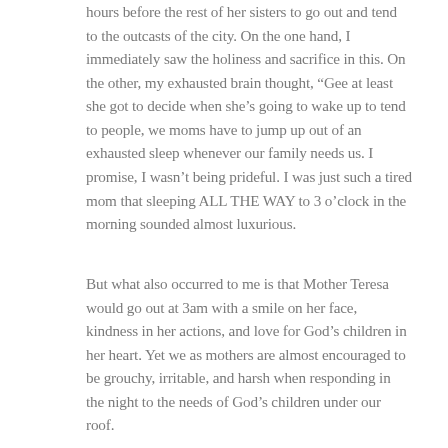hours before the rest of her sisters to go out and tend to the outcasts of the city. On the one hand, I immediately saw the holiness and sacrifice in this. On the other, my exhausted brain thought, “Gee at least she got to decide when she’s going to wake up to tend to people, we moms have to jump up out of an exhausted sleep whenever our family needs us. I promise, I wasn’t being prideful. I was just such a tired mom that sleeping ALL THE WAY to 3 o’clock in the morning sounded almost luxurious.
But what also occurred to me is that Mother Teresa would go out at 3am with a smile on her face, kindness in her actions, and love for God’s children in her heart. Yet we as mothers are almost encouraged to be grouchy, irritable, and harsh when responding in the night to the needs of God’s children under our roof.